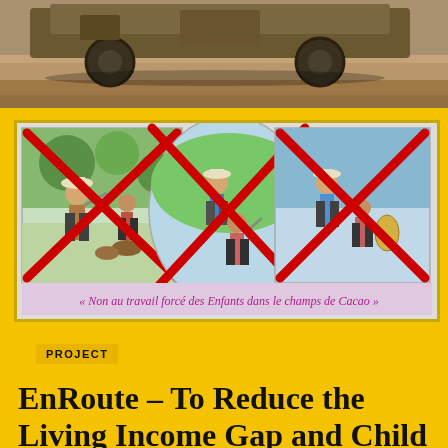[Figure (photo): Top portion of a photograph showing a vehicle (wheels visible) on a dirt road, cropped at the top of the page.]
[Figure (photo): A painted mural/poster showing three panels with red X marks over images of adults and children working in cocoa fields. Text at bottom reads: « Non au travail forcé des Enfants dans le champs de Cacao »]
PROJECT
EnRoute – To Reduce the Living Income Gap and Child Labour